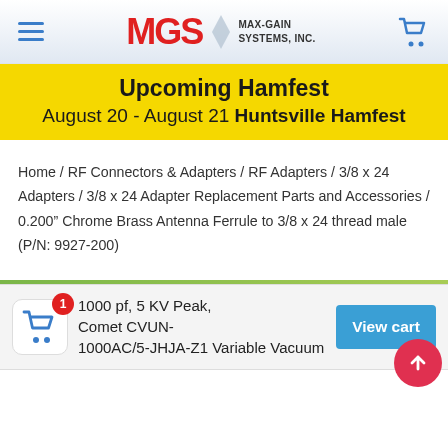MGS MAX-GAIN SYSTEMS, INC.
Upcoming Hamfest
August 20 - August 21 Huntsville Hamfest
Home / RF Connectors & Adapters / RF Adapters / 3/8 x 24 Adapters / 3/8 x 24 Adapter Replacement Parts and Accessories / 0.200" Chrome Brass Antenna Ferrule to 3/8 x 24 thread male (P/N: 9927-200)
1000 pf, 5 KV Peak, Comet CVUN-1000AC/5-JHJA-Z1 Variable Vacuum
View cart